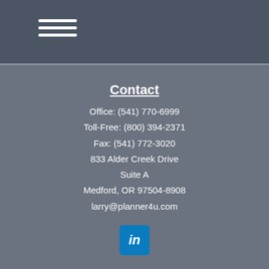≡ (menu icon)
Contact
Office: (541) 770-6999
Toll-Free: (800) 394-2371
Fax: (541) 772-3020
833 Alder Creek Drive
Suite A
Medford, OR 97504-8908
larry@planner4u.com
[Figure (logo): LinkedIn icon - blue rounded square with white 'in' text]
Quick Links
Retirement
Investment
Estate
Insurance
Tax